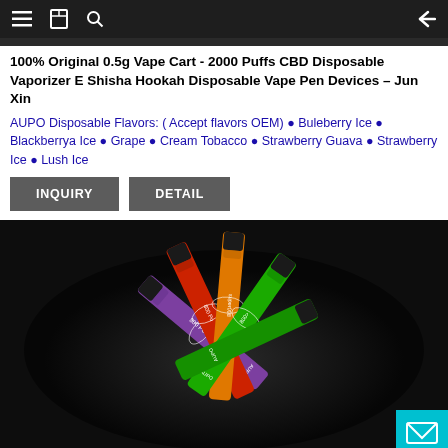Navigation bar with menu, bookmark, search, and back icons
100% Original 0.5g Vape Cart - 2000 Puffs CBD Disposable Vaporizer E Shisha Hookah Disposable Vape Pen Devices – Jun Xin
AUPO Disposable Flavors: ( Accept flavors OEM) • Buleberry Ice • Blackberrya Ice • Grape • Cream Tobacco • Strawberry Guava • Strawberry Ice • Lush Ice
[Figure (other): Two gray buttons labeled INQUIRY and DETAIL]
[Figure (photo): Product photo of multiple colorful disposable vape pens (purple, red, orange, green) with '800 PUFFS' text on dark background, AUPO branding visible]